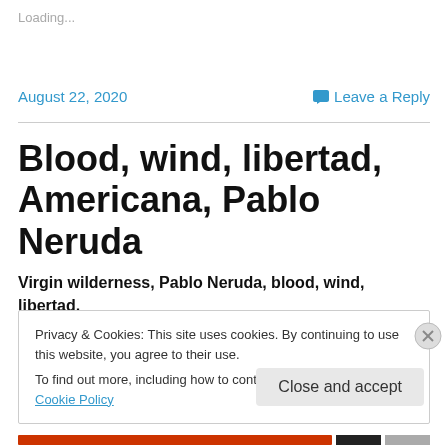Loading...
August 22, 2020
Leave a Reply
Blood, wind, libertad, Americana, Pablo Neruda
Virgin wilderness, Pablo Neruda, blood, wind, libertad, Americana
Privacy & Cookies: This site uses cookies. By continuing to use this website, you agree to their use.
To find out more, including how to control cookies, see here: Cookie Policy
Close and accept